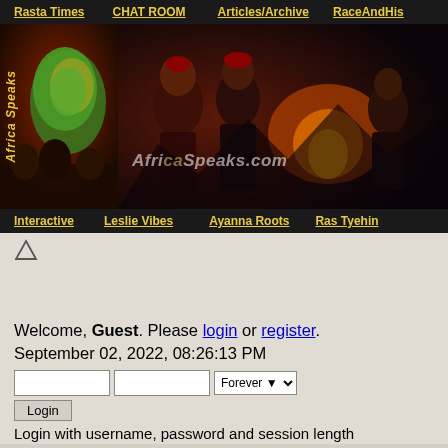Rasta Times | CHAT ROOM | Articles/Archive | RaceAndHis...
[Figure (screenshot): Africa Speaks website banner with Africa map image on left and cultural photo collage on right showing African people and fire, with AfricaSpeaks.com watermark text]
Interactive | Leslie Vibes | Ayanna Roots | Ras Tyehin...
[Figure (other): Up arrow triangle icon]
Welcome, Guest. Please login or register. September 02, 2022, 08:26:13 PM
Login with username, password and session length
Search: [input] Search Advanced sear...
25908 Posts in 9964 Topics by 982 Members Latest Member: